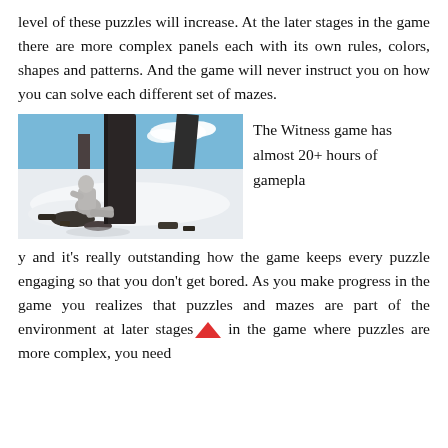level of these puzzles will increase. At the later stages in the game there are more complex panels each with its own rules, colors, shapes and patterns. And the game will never instruct you on how you can solve each different set of mazes.
[Figure (photo): Screenshot from The Witness video game showing a stone statue figure sitting against a large post/pillar in a snowy winter environment with dark structural ruins and cloudy blue sky in the background.]
The Witness game has almost 20+ hours of gameplay and it's really outstanding how the game keeps every puzzle engaging so that you don't get bored. As you make progress in the game you realizes that puzzles and mazes are part of the environment at later stages in the game where puzzles are more complex, you need